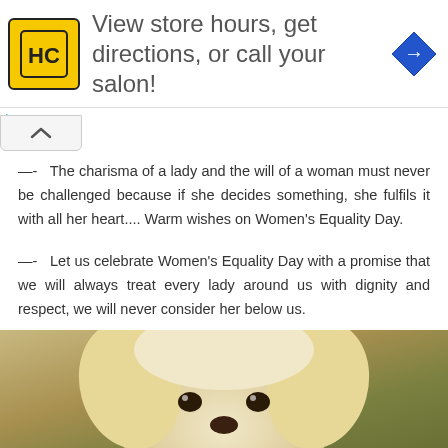[Figure (infographic): Ad banner with HC Haircuttery logo (yellow square with HC initials) and text: View store hours, get directions, or call your salon! Blue diamond navigation arrow icon on the right.]
—-   The charisma of a lady and the will of a woman must never be challenged because if she decides something, she fulfils it with all her heart.... Warm wishes on Women's Equality Day.
—-   Let us celebrate Women's Equality Day with a promise that we will always treat every lady around us with dignity and respect, we will never consider her below us.
[Figure (photo): Close-up photo of a white/cream golden retriever puppy face against a blurred warm brown/green background.]